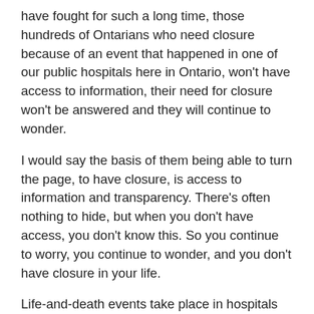have fought for such a long time, those hundreds of Ontarians who need closure because of an event that happened in one of our public hospitals here in Ontario, won't have access to information, their need for closure won't be answered and they will continue to wonder.
I would say the basis of them being able to turn the page, to have closure, is access to information and transparency. There's often nothing to hide, but when you don't have access, you don't know this. So you continue to worry, you continue to wonder, and you don't have closure in your life.
Life-and-death events take place in hospitals every day. People are born, people die, and life-changing events take place in every one of our hospitals on a daily basis. It's no wonder that conflicts sometimes arise. It's no wonder that sometimes people want more information about what went on. But hospitals will be off limits. All they will have to do is say, “This is part of our continuous quality improvement.”